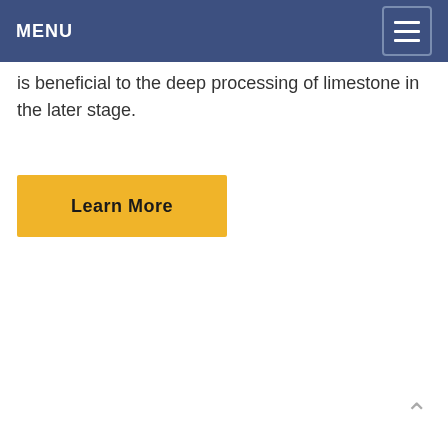MENU
is beneficial to the deep processing of limestone in the later stage.
Learn More